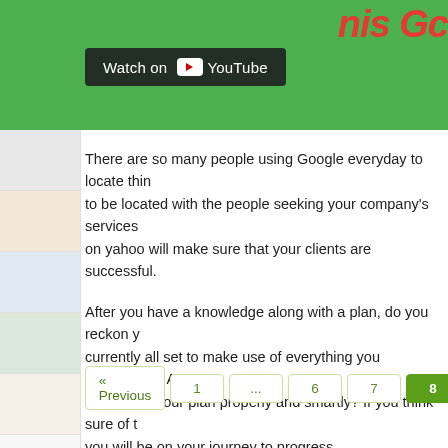[Figure (screenshot): YouTube video thumbnail with green background and red italic text partially visible at top right. A dark overlay bar shows 'Watch on YouTube' with the YouTube logo.]
There are so many people using Google everyday to locate things, to be located with the people seeking your company's services on yahoo will make sure that your clients are successful.
After you have a knowledge along with a plan, do you reckon you are currently all set to make use of everything you discovered? Are you enhancing your plan properly and smartly? If you think sure of this, you will be on your journey to progress..
« Previous  1  ...  6  7  8  9  10  Next »